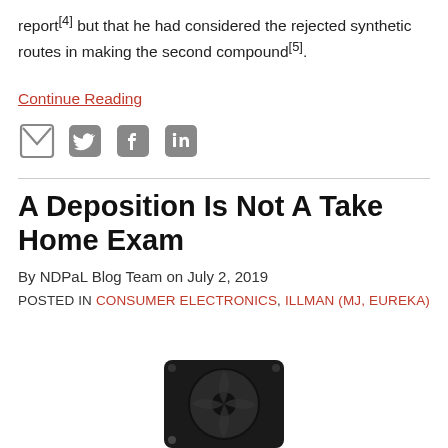report[4] but that he had considered the rejected synthetic routes in making the second compound[5].
Continue Reading
[Figure (infographic): Social sharing icons: email, Twitter, Facebook, LinkedIn]
A Deposition Is Not A Take Home Exam
By NDPaL Blog Team on July 2, 2019
POSTED IN CONSUMER ELECTRONICS, ILLMAN (MJ, EUREKA)
[Figure (photo): Partial photo of a computer cooling fan/liquid cooler hardware component, dark colored, viewed from above]